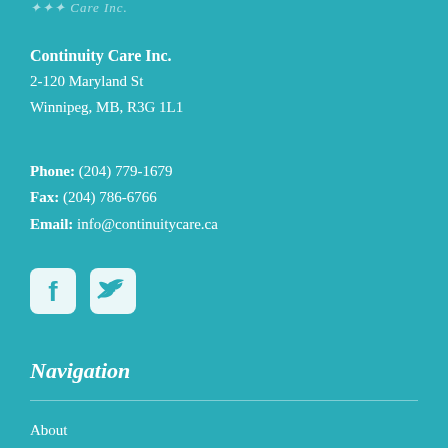Continuity Care Inc.
Continuity Care Inc.
2-120 Maryland St
Winnipeg, MB, R3G 1L1
Phone: (204) 779-1679
Fax: (204) 786-6766
Email: info@continuitycare.ca
[Figure (logo): Facebook and Twitter social media icon buttons (white icons on teal rounded square backgrounds)]
Navigation
About
Contact
Donate Now